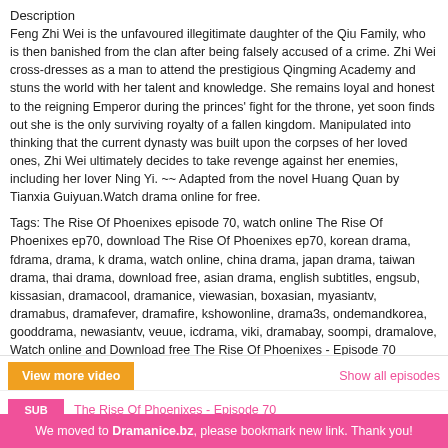Description
Feng Zhi Wei is the unfavoured illegitimate daughter of the Qiu Family, who is then banished from the clan after being falsely accused of a crime. Zhi Wei cross-dresses as a man to attend the prestigious Qingming Academy and stuns the world with her talent and knowledge. She remains loyal and honest to the reigning Emperor during the princes' fight for the throne, yet soon finds out she is the only surviving royalty of a fallen kingdom. Manipulated into thinking that the current dynasty was built upon the corpses of her loved ones, Zhi Wei ultimately decides to take revenge against her enemies, including her lover Ning Yi. ~~ Adapted from the novel Huang Quan by Tianxia Guiyuan.Watch drama online for free.
Tags: The Rise Of Phoenixes episode 70, watch online The Rise Of Phoenixes ep70, download The Rise Of Phoenixes ep70, korean drama, fdrama, drama, k drama, watch online, china drama, japan drama, taiwan drama, thai drama, download free, asian drama, english subtitles, engsub, kissasian, dramacool, dramanice, viewasian, boxasian, myasiantv, dramabus, dramafever, dramafire, kshowonline, drama3s, ondemandkorea, gooddrama, newasiantv, veuue, icdrama, viki, dramabay, soompi, dramalove, Watch online and Download free The Rise Of Phoenixes - Episode 70 English subtitles
💬 COMMENTS
View more video
Show all episodes
SUB  The Rise Of Phoenixes - Episode 70
We moved to Dramanice.bz, please bookmark new link. Thank you!